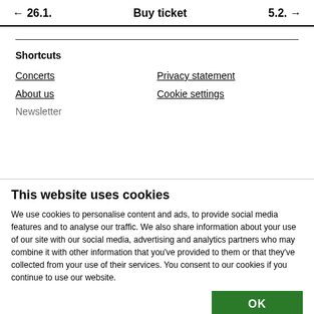← 26.1.    Buy ticket    5.2. →
Shortcuts
Concerts
Privacy statement
About us
Cookie settings
This website uses cookies
We use cookies to personalise content and ads, to provide social media features and to analyse our traffic. We also share information about your use of our site with our social media, advertising and analytics partners who may combine it with other information that you've provided to them or that they've collected from your use of their services. You consent to our cookies if you continue to use our website.
OK
Necessary   Preferences   Statistics   Marketing   Show details